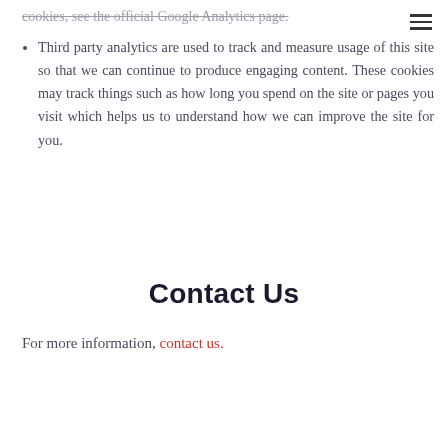cookies, see the official Google Analytics page.
Third party analytics are used to track and measure usage of this site so that we can continue to produce engaging content. These cookies may track things such as how long you spend on the site or pages you visit which helps us to understand how we can improve the site for you.
Contact Us
For more information, contact us.